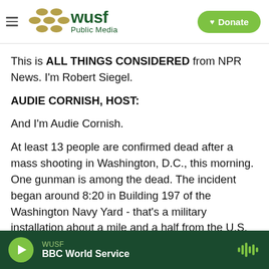WUSF Public Media — Donate
This is ALL THINGS CONSIDERED from NPR News. I'm Robert Siegel.
AUDIE CORNISH, HOST:
And I'm Audie Cornish.
At least 13 people are confirmed dead after a mass shooting in Washington, D.C., this morning. One gunman is among the dead. The incident began around 8:20 in Building 197 of the Washington Navy Yard - that's a military installation about a mile and a half from the U.S. Capitol. About 3,000 people,
WUSF — BBC World Service